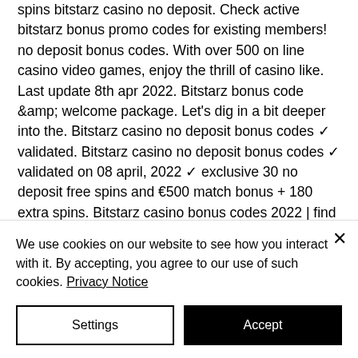spins bitstarz casino no deposit. Check active bitstarz bonus promo codes for existing members! no deposit bonus codes. With over 500 on line casino video games, enjoy the thrill of casino like. Last update 8th apr 2022. Bitstarz bonus code &amp;amp; welcome package. Let's dig in a bit deeper into the. Bitstarz casino no deposit bonus codes ✓ validated. Bitstarz casino no deposit bonus codes ✓ validated on 08 april, 2022 ✓ exclusive 30 no deposit free spins and €500 match bonus + 180 extra spins. Bitstarz casino bonus codes 2022 | find the best bitstarz
We use cookies on our website to see how you interact with it. By accepting, you agree to our use of such cookies. Privacy Notice
Settings
Accept